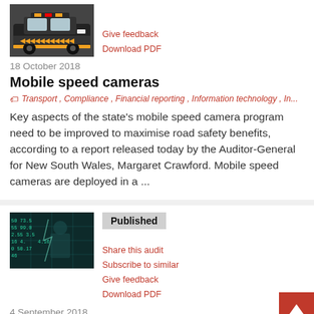[Figure (photo): Police/highway patrol vehicle with orange and yellow chevron markings]
Give feedback
Download PDF
18 October 2018
Mobile speed cameras
Transport , Compliance , Financial reporting , Information technology , In...
Key aspects of the state's mobile speed camera program need to be improved to maximise road safety benefits, according to a report released today by the Auditor-General for New South Wales, Margaret Crawford. Mobile speed cameras are deployed in a ...
[Figure (photo): Person behind a grid/bars with financial data/numbers overlaid in teal/dark green tones]
Published
Share this audit
Subscribe to similar
Give feedback
Download PDF
4 September 2018